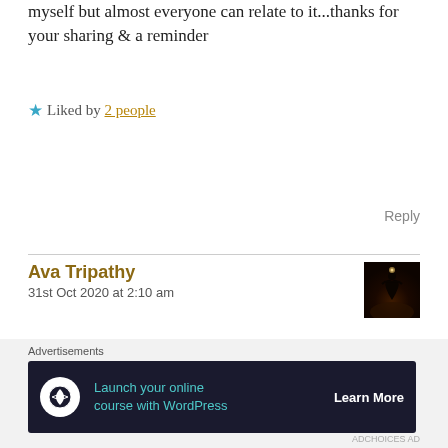myself but almost everyone can relate to it...thanks for your sharing & a reminder
Liked by 2 people
Reply
Ava Tripathy
31st Oct 2020 at 2:10 am
Thank you so much!
Pleasure is all mine!
Glad that you like it.
Like
Advertisements
Launch your online course with WordPress  Learn More